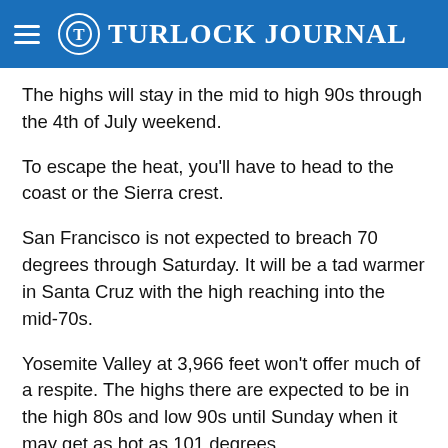Turlock Journal
The highs will stay in the mid to high 90s through the 4th of July weekend.
To escape the heat, you'll have to head to the coast or the Sierra crest.
San Francisco is not expected to breach 70 degrees through Saturday. It will be a tad warmer in Santa Cruz with the high reaching into the mid-70s.
Yosemite Valley at 3,966 feet won't offer much of a respite. The highs there are expected to be in the high 80s and low 90s until Sunday when it may get as hot as 101 degrees.
Sonora Pass at 9,623 feet will top off in the mid-70s. The tradeoff